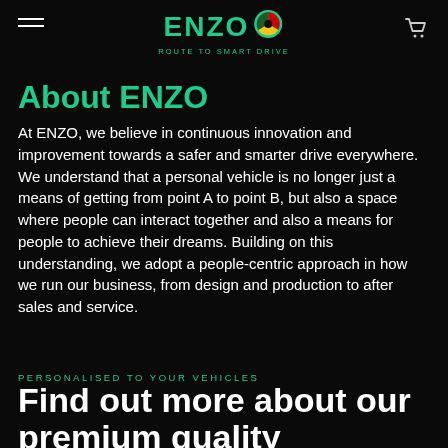ENZO — ROUTE TO SMART DRIVE
About ENZO
At ENZO, we believe in continuous innovation and improvement towards a safer and smarter drive everywhere. We understand that a personal vehicle is no longer just a means of getting from point A to point B, but also a space where people can interact together and also a means for people to achieve their dreams. Building on this understanding, we adopt a people-centric approach in how we run our business, from design and production to after sales and service.
PERSONALISED TO YOUR VEHICLES
Find out more about our premium quality products